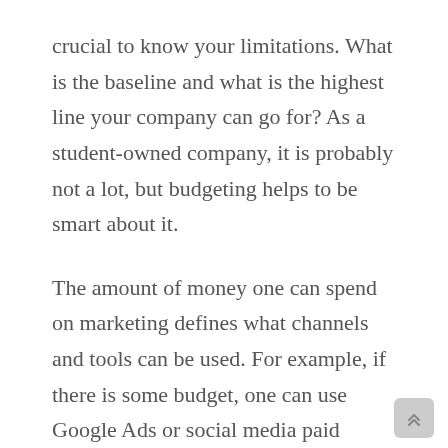crucial to know your limitations. What is the baseline and what is the highest line your company can go for? As a student-owned company, it is probably not a lot, but budgeting helps to be smart about it.
The amount of money one can spend on marketing defines what channels and tools can be used. For example, if there is some budget, one can use Google Ads or social media paid promotion. But if there is not enough money for that, one will need to find other ways, like starting a blog, guest posting, creating interactive social media content, etc.